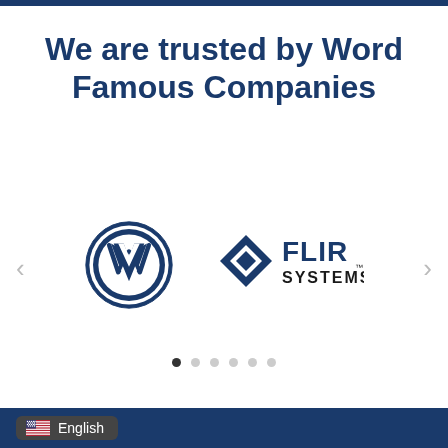We are trusted by Word Famous Companies
[Figure (logo): Volkswagen (VW) circular logo in blue and white]
[Figure (logo): FLIR Systems logo with blue diamond/arrow icon and bold text]
English